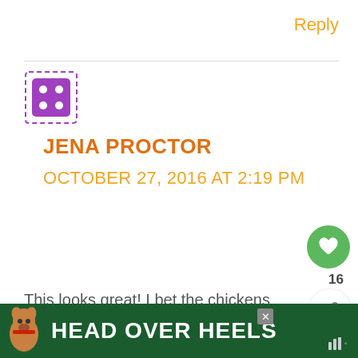Reply
[Figure (illustration): Purple dice/avatar placeholder icon with dashed border and four white dots arranged in a 2x2 pattern]
JENA PROCTOR
OCTOBER 27, 2016 AT 2:19 PM
This looks great! I bet the chickens love it, it gives them space to move about fairly freely...
[Figure (infographic): Green circular like/heart button with count 16, and a share button below]
[Figure (infographic): What's Next panel showing Backyard Chicken Co... with a thumbnail image]
Reply
[Figure (screenshot): Advertisement banner with dark green background showing a dog and text HEAD OVER HEELS with close button and audio icon]